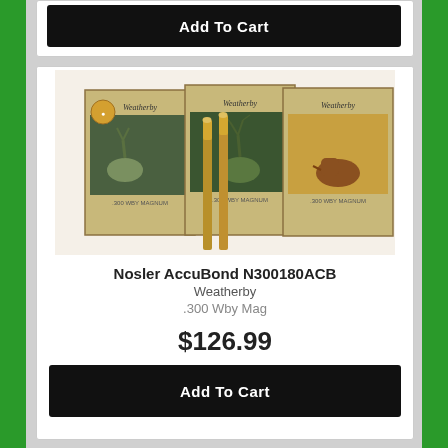[Figure (photo): Three Weatherby ammunition boxes with rifle cartridges displayed in front, featuring wildlife images (deer, elk, buffalo) on the box art]
Nosler AccuBond N300180ACB
Weatherby
.300 Wby Mag
$126.99
Add To Cart